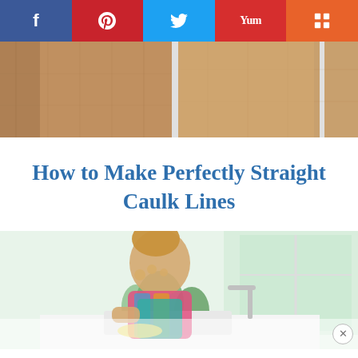[Figure (other): Social media share bar with five buttons: Facebook (dark blue), Pinterest (red), Twitter (light blue), Yummly (red), and Mix/Mixx (orange)]
[Figure (photo): Partial view of wooden cabinet doors or panels in light brown/oak tones]
How to Make Perfectly Straight Caulk Lines
[Figure (photo): Young girl with curly hair leaning over a white kitchen sink, with green plants and a window visible in the background. A watermark/close button (x) is visible in the lower right.]